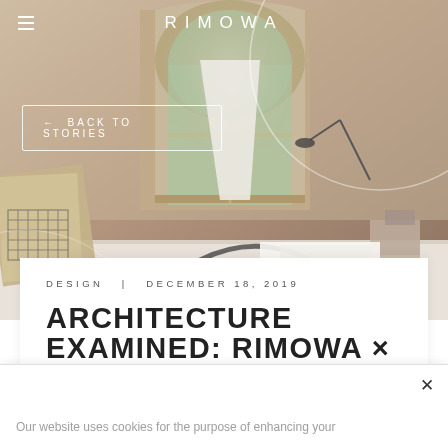[Figure (photo): Interior photo of a design studio/workspace with an arched window, desk with lamp and objects, warm beige tones, RIMOWA branding overlay with decorative circles]
RIMOWA
← Back to stories
DESIGN  |  DECEMBER 18, 2019
ARCHITECTURE EXAMINED: RIMOWA x
Our website uses cookies for the purpose of enhancing your